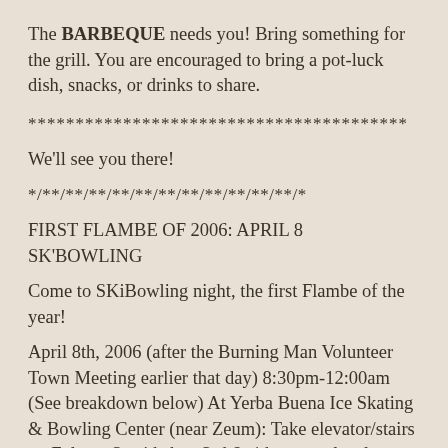The BARBEQUE needs you! Bring something for the grill. You are encouraged to bring a pot-luck dish, snacks, or drinks to share.
****************************************
We'll see you there!
*/**/**/**/**/**/**/**/**/**/**/**/*
FIRST FLAMBE OF 2006: APRIL 8 SK'BOWLING
Come to SKiBowling night, the first Flambe of the year!
April 8th, 2006 (after the Burning Man Volunteer Town Meeting earlier that day) 8:30pm-12:00am (See breakdown below) At Yerba Buena Ice Skating & Bowling Center (near Zeum): Take elevator/stairs on Folsom St. side bet. 3rd & 4th up one level